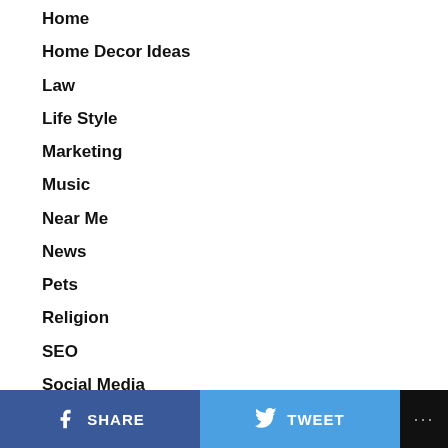Home
Home Decor Ideas
Law
Life Style
Marketing
Music
Near Me
News
Pets
Religion
SEO
Social Media
Sports
Tech
Travel
Watches
SHARE  TWEET  ...